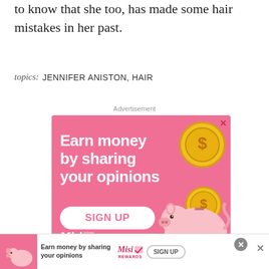to know that she too, has made some hair mistakes in her past.
topics: JENNIFER ANISTON, HAIR
Advertisement
[Figure (other): Pink advertisement banner: 'Earn money by sharing your opinions' with SIGN UP button, gold coins, piggy bank illustration, and Misi Rewards logo]
[Figure (other): Bottom strip advertisement: smaller version of Misi Rewards ad with piggy bank, text, logo, and SIGN UP button]